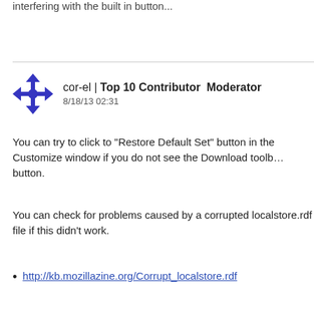interfering with the built in button...
cor-el | Top 10 Contributor Moderator
8/18/13 02:31
You can try to click to "Restore Default Set" button in the Customize window if you do not see the Download toolbar button.
You can check for problems caused by a corrupted localstore.rdf file if this didn't work.
http://kb.mozillazine.org/Corrupt_localstore.rdf